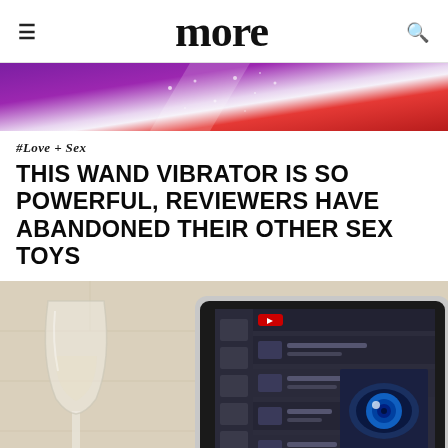more
[Figure (photo): Purple and red banner/advertisement image with sparkle effects]
#Love + Sex
THIS WAND VIBRATOR IS SO POWERFUL, REVIEWERS HAVE ABANDONED THEIR OTHER SEX TOYS
[Figure (photo): Photo showing a wine glass with white wine on the left and a tablet/iPad displaying a dark interface with a blue eye image on the right, set on a light wooden surface with a stone/brick wall background]